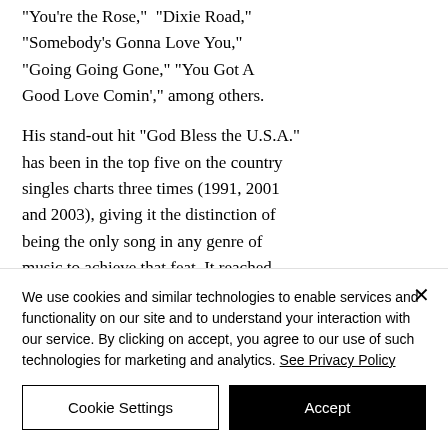"You're the Rose," "Dixie Road," "Somebody's Gonna Love You," "Going Going Gone," "You Got A Good Love Comin'," among others.
His stand-out hit "God Bless the U.S.A." has been in the top five on the country singles charts three times (1991, 2001 and 2003), giving it the distinction of being the only song in any genre of music to achieve that feat. It reached
We use cookies and similar technologies to enable services and functionality on our site and to understand your interaction with our service. By clicking on accept, you agree to our use of such technologies for marketing and analytics. See Privacy Policy